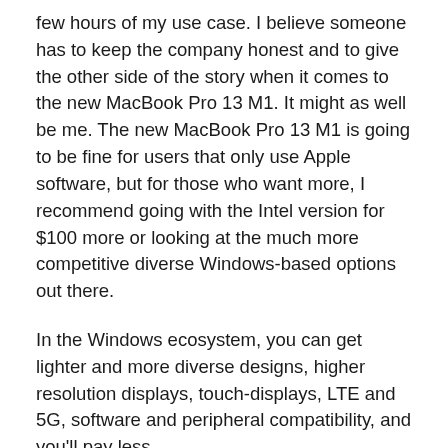few hours of my use case. I believe someone has to keep the company honest and to give the other side of the story when it comes to the new MacBook Pro 13 M1. It might as well be me. The new MacBook Pro 13 M1 is going to be fine for users that only use Apple software, but for those who want more, I recommend going with the Intel version for $100 more or looking at the much more competitive diverse Windows-based options out there.
In the Windows ecosystem, you can get lighter and more diverse designs, higher resolution displays, touch-displays, LTE and 5G, software and peripheral compatibility, and you'll pay less.
In the future, I will be testing more AAA games,